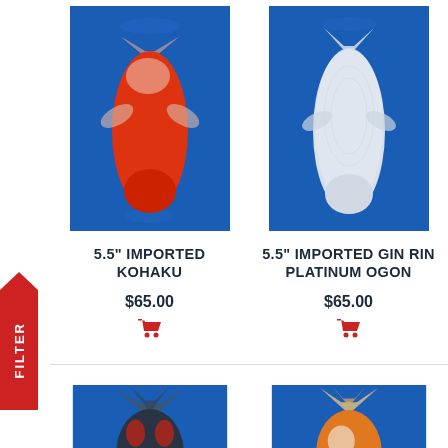[Figure (photo): Top-down photo of a red and white Kohaku koi fish on blue background]
5.5" IMPORTED KOHAKU
$65.00
[Figure (photo): Top-down photo of a silver/white Gin Rin Platinum Ogon koi fish on blue background]
5.5" IMPORTED GIN RIN PLATINUM OGON
$65.00
[Figure (photo): Partial top-down photo of a dark koi fish on blue background]
[Figure (photo): Partial top-down photo of an orange and white koi fish on blue background]